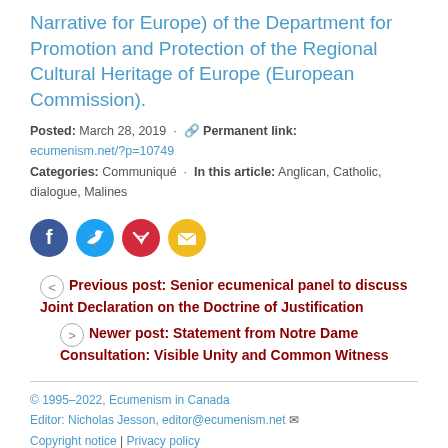Narrative for Europe) of the Department for Promotion and Protection of the Regional Cultural Heritage of Europe (European Commission).
Posted: March 28, 2019 · Permanent link: ecumenism.net/?p=10749
Categories: Communiqué · In this article: Anglican, Catholic, dialogue, Malines
[Figure (other): Row of four social share icon buttons: Facebook (blue), Twitter (light blue), Pocket (red), Email (yellow)]
Previous post: Senior ecumenical panel to discuss Joint Declaration on the Doctrine of Justification
Newer post: Statement from Notre Dame Consultation: Visible Unity and Common Witness
© 1995–2022, Ecumenism in Canada
Editor: Nicholas Jesson, editor@ecumenism.net ✉
Copyright notice | Privacy policy